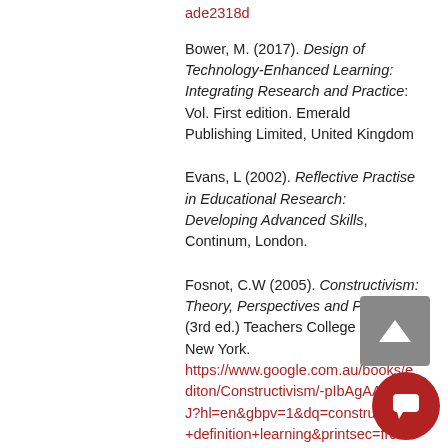ade2318d
Bower, M. (2017). Design of Technology-Enhanced Learning: Integrating Research and Practice: Vol. First edition. Emerald Publishing Limited, United Kingdom
Evans, L (2002). Reflective Practise in Educational Research: Developing Advanced Skills, Continum, London.
Fosnot, C.W (2005). Constructivism: Theory, Perspectives and Practice, (3rd ed.) Teachers College Press, New York. https://www.google.com.au/books/edition/Constructivism/-pIbAgAAQBAJ?hl=en&gbpv=1&dq=constructivism+definition+learning&printsec=frontcove